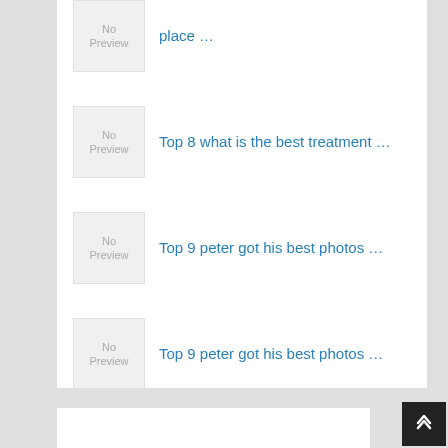place …
Top 8 what is the best treatment …
Top 9 peter got his best photos …
Top 9 peter got his best photos …